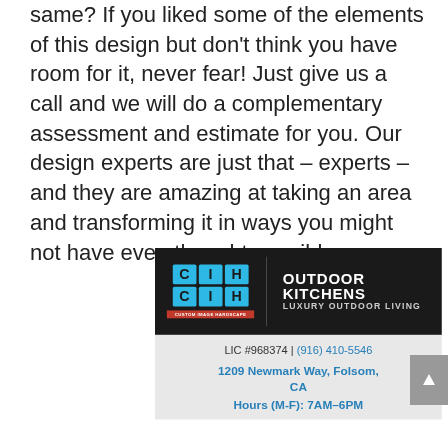same? If you liked some of the elements of this design but don't think you have room for it, never fear! Just give us a call and we will do a complementary assessment and estimate for you. Our design experts are just that – experts – and they are amazing at taking an area and transforming it in ways you might not have even thought possible.
[Figure (logo): Custom Image Hardscape logo with blue CIH letter grid, red ribbon banner reading CUSTOM IMAGE HARDSCAPE, black background, text OUTDOOR KITCHENS LUXURY OUTDOOR LIVING]
LIC #968374 | (916) 410-5546
1209 Newmark Way, Folsom, CA
Hours (M-F): 7AM–6PM